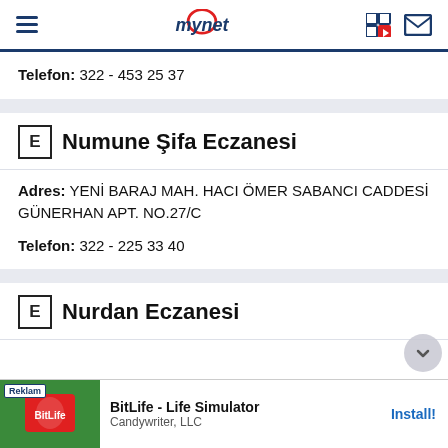mynet
Telefon: 322 - 453 25 37
E  Numune Şifa Eczanesi
Adres: YENİ BARAJ MAH. HACI ÖMER SABANCI CADDESİ GÜNERHAN APT. NO.27/C
Telefon: 322 - 225 33 40
E  Nurdan Eczanesi
[Figure (screenshot): Advertisement banner for BitLife - Life Simulator by Candywriter, LLC with Install button]